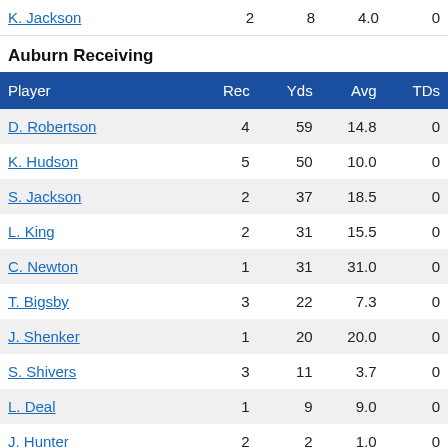| Player | Rec | Yds | Avg | TDs |
| --- | --- | --- | --- | --- |
| K. Jackson | 2 | 8 | 4.0 | 0 |
Auburn Receiving
| Player | Rec | Yds | Avg | TDs |
| --- | --- | --- | --- | --- |
| D. Robertson | 4 | 59 | 14.8 | 0 |
| K. Hudson | 5 | 50 | 10.0 | 0 |
| S. Jackson | 2 | 37 | 18.5 | 0 |
| L. King | 2 | 31 | 15.5 | 0 |
| C. Newton | 1 | 31 | 31.0 | 0 |
| T. Bigsby | 3 | 22 | 7.3 | 0 |
| J. Shenker | 1 | 20 | 20.0 | 0 |
| S. Shivers | 3 | 11 | 3.7 | 0 |
| L. Deal | 1 | 9 | 9.0 | 0 |
| J. Hunter | 2 | 2 | 1.0 | 0 |
Georgia Interceptions
| Player | Int | Yards |
| --- | --- | --- |
| N. Dean | 1 |  |